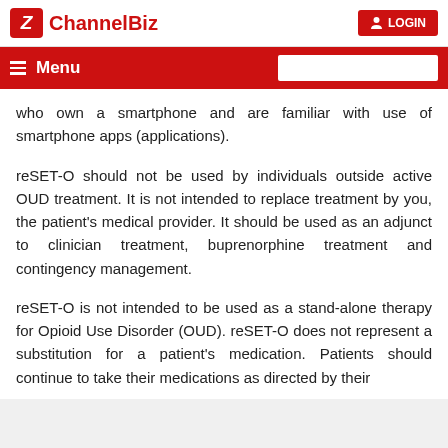ChannelBiz | LOGIN
Menu
who own a smartphone and are familiar with use of smartphone apps (applications).
reSET-O should not be used by individuals outside active OUD treatment. It is not intended to replace treatment by you, the patient's medical provider. It should be used as an adjunct to clinician treatment, buprenorphine treatment and contingency management.
reSET-O is not intended to be used as a stand-alone therapy for Opioid Use Disorder (OUD). reSET-O does not represent a substitution for a patient's medication. Patients should continue to take their medications as directed by their